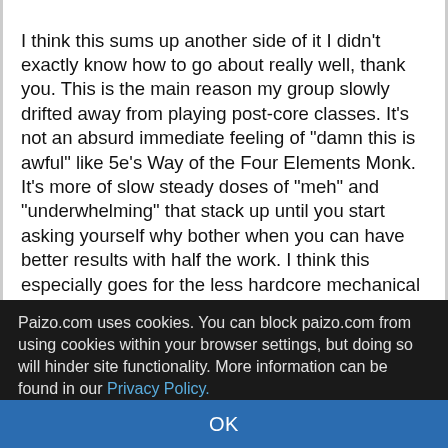I think this sums up another side of it I didn't exactly know how to go about really well, thank you. This is the main reason my group slowly drifted away from playing post-core classes. It's not an absurd immediate feeling of "damn this is awful" like 5e's Way of the Four Elements Monk. It's more of slow steady doses of "meh" and "underwhelming" that stack up until you start asking yourself why bother when you can have better results with half the work. I think this especially goes for the less hardcore mechanical players (though the optimizers in the group do tend to prefer core classes as well since you can put effort into making them even better instead of working hard to turn below average into alright).
Paizo.com uses cookies. You can block paizo.com from using cookies within your browser settings, but doing so will hinder site functionality. More information can be found in our Privacy Policy.
OK